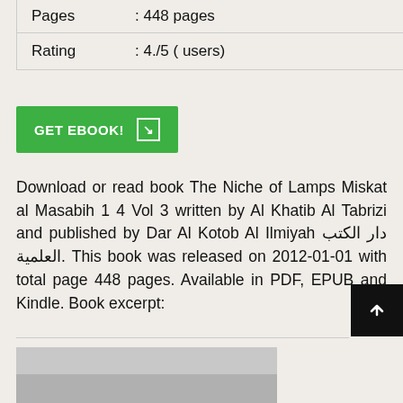| Pages | : 448 pages |
| Rating | : 4./5 ( users) |
GET EBOOK!
Download or read book The Niche of Lamps Miskat al Masabih 1 4 Vol 3 written by Al Khatib Al Tabrizi and published by Dar Al Kotob Al Ilmiyah دار الكتب العلمية. This book was released on 2012-01-01 with total page 448 pages. Available in PDF, EPUB and Kindle. Book excerpt: